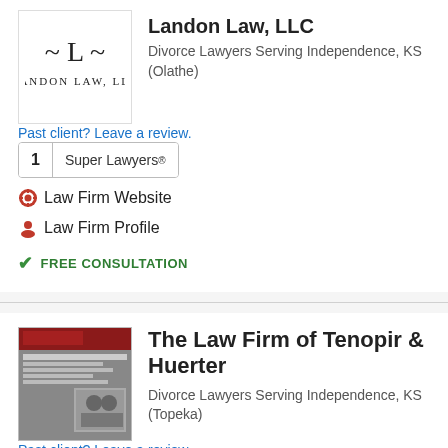[Figure (logo): Landon Law LLC logo with stylized L and tilde marks]
Landon Law, LLC
Divorce Lawyers Serving Independence, KS (Olathe)
Past client? Leave a review.
1  Super Lawyers®
Law Firm Website
Law Firm Profile
FREE CONSULTATION
[Figure (screenshot): Screenshot of The Law Firm of Tenopir & Huerter website showing a team photo]
The Law Firm of Tenopir & Huerter
Divorce Lawyers Serving Independence, KS (Topeka)
Past client? Leave a review.